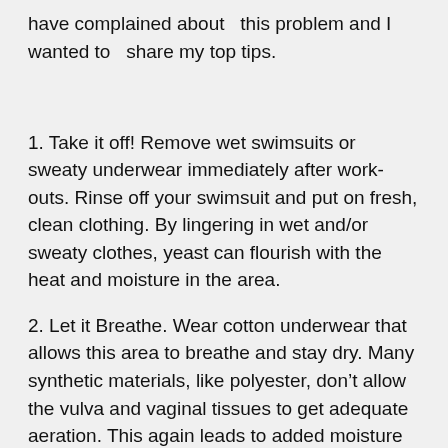have complained about this problem and I wanted to share my top tips.
1. Take it off! Remove wet swimsuits or sweaty underwear immediately after work-outs. Rinse off your swimsuit and put on fresh, clean clothing. By lingering in wet and/or sweaty clothes, yeast can flourish with the heat and moisture in the area.
2. Let it Breathe. Wear cotton underwear that allows this area to breathe and stay dry. Many synthetic materials, like polyester, don’t allow the vulva and vaginal tissues to get adequate aeration. This again leads to added moisture and heat, which yeast thrive on.
3. If avoiding... Try to avoid close fitting or too tight